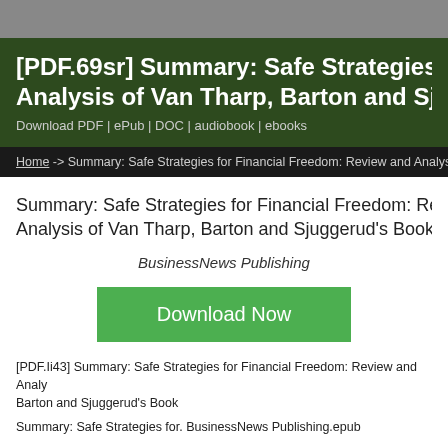[PDF.69sr] Summary: Safe Strategies Analysis of Van Tharp, Barton and Sju
Download PDF | ePub | DOC | audiobook | ebooks
Home -> Summary: Safe Strategies for Financial Freedom: Review and Analys
Summary: Safe Strategies for Financial Freedom: Re Analysis of Van Tharp, Barton and Sjuggerud's Book
BusinessNews Publishing
Download Now
[PDF.Ii43] Summary: Safe Strategies for Financial Freedom: Review and Analy Barton and Sjuggerud's Book
Summary: Safe Strategies for. BusinessNews Publishing.epub